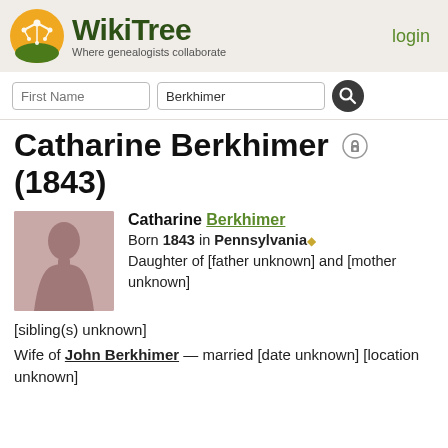WikiTree — Where genealogists collaborate | login
First Name | Berkhimer [search]
Catharine Berkhimer (1843)
Catharine Berkhimer
Born 1843 in Pennsylvania
Daughter of [father unknown] and [mother unknown]
[sibling(s) unknown]
Wife of John Berkhimer — married [date unknown] [location unknown]